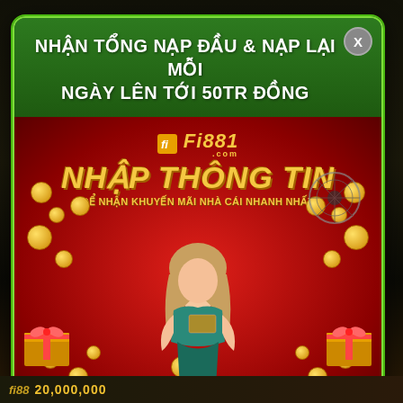NHẬN TỔNG NẠP ĐẦU & NẠP LẠI MỖI NGÀY LÊN TỚI 50TR ĐỒNG
[Figure (illustration): Fi881.com casino promotional banner with red background, gold text 'NHẬP THÔNG TIN' and 'ĐỂ NHẬN KHUYẾN MÃI NHÀ CÁI NHANH NHẤT', female figure in center, gold coins and gift boxes around]
Họ tên